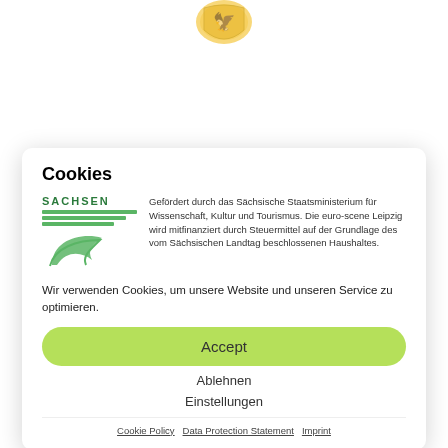[Figure (logo): Coat of arms / city seal at top of page, partially visible]
[Figure (logo): Diehl+Ritter logo in background, mirrored/flipped gray text]
[Figure (logo): NEU START text in background]
Cookies
[Figure (logo): Sachsen state logo with green stripes and leaf symbol]
Gefördert durch das Sächsische Staatsministerium für Wissenschaft, Kultur und Tourismus. Die euro-scene Leipzig wird mitfinanziert durch Steuermittel auf der Grundlage des vom Sächsischen Landtag beschlossenen Haushaltes.
Wir verwenden Cookies, um unsere Website und unseren Service zu optimieren.
Accept
Ablehnen
Einstellungen
Cookie Policy   Data Protection Statement   Imprint